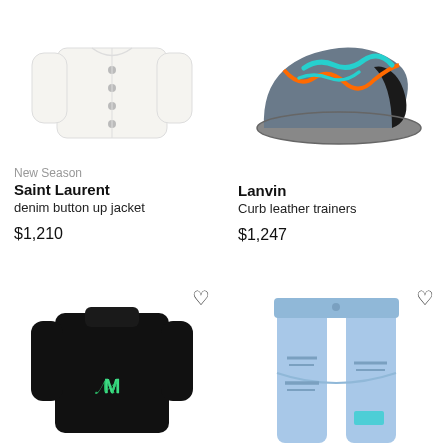[Figure (photo): White denim button up jacket on white background]
[Figure (photo): Lanvin Curb leather trainers in grey with orange and teal laces]
New Season
Saint Laurent
denim button up jacket
$1,210
Lanvin
Curb leather trainers
$1,247
[Figure (photo): Black knit sweater with green Amiri logo on white background]
[Figure (photo): Light blue distressed denim jeans on white background]